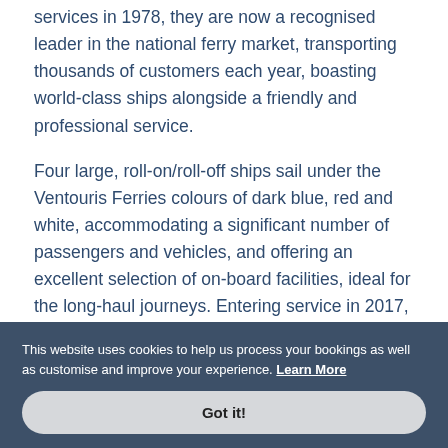services in 1978, they are now a recognised leader in the national ferry market, transporting thousands of customers each year, boasting world-class ships alongside a friendly and professional service.
Four large, roll-on/roll-off ships sail under the Ventouris Ferries colours of dark blue, red and white, accommodating a significant number of passengers and vehicles, and offering an excellent selection of on-board facilities, ideal for the long-haul journeys. Entering service in 2017, MS Rigel III is the fastest vessel, travelling at nineteen knots, while MS Rigel II is the largest,
This website uses cookies to help us process your bookings as well as customise and improve your experience. Learn More
Got it!